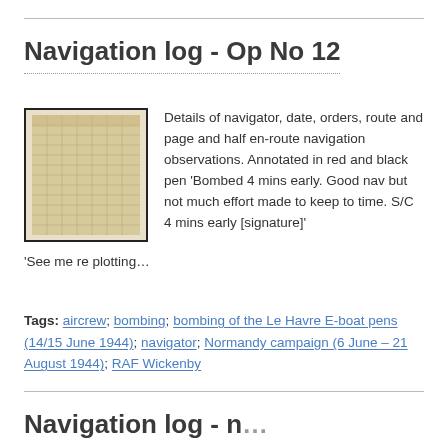Navigation log - Op No 12
[Figure (photo): Thumbnail image of a navigation log document page showing a grid/table on aged paper with faint grid lines, bordered with a thick black frame.]
Details of navigator, date, orders, route and page and half en-route navigation observations. Annotated in red and black pen 'Bombed 4 mins early. Good nav but not much effort made to keep to time. S/C 4 mins early [signature]' 'See me re plotting…
Tags: aircrew; bombing; bombing of the Le Havre E-boat pens (14/15 June 1944); navigator; Normandy campaign (6 June – 21 August 1944); RAF Wickenby
Navigation log - [partial, next entry]